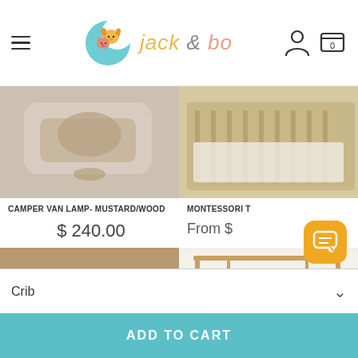[Figure (logo): Jack & Bo brand header with moon/animal logo, hamburger menu, person icon, and cart icon showing 0]
[Figure (photo): Camper Van Lamp - Mustard/Wood product photo, partially shown]
CAMPER VAN LAMP- MUSTARD/WOOD
$ 240.00
[Figure (photo): Montessori T product photo - wooden furniture, partially shown]
MONTESSORI T
From $
[Figure (photo): Angel lamp product photo with warm glow, wooden toys visible]
[Figure (photo): Montessori wooden frame with hanging greenery]
Crib
ADD TO CART